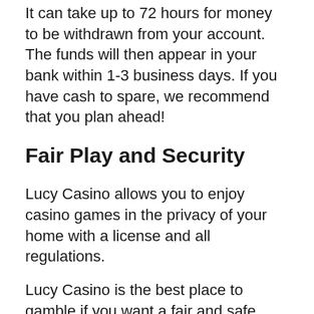It can take up to 72 hours for money to be withdrawn from your account. The funds will then appear in your bank within 1-3 business days. If you have cash to spare, we recommend that you plan ahead!
Fair Play and Security
Lucy Casino allows you to enjoy casino games in the privacy of your home with a license and all regulations.
Lucy Casino is the best place to gamble if you want a fair and safe experience. They have strict KYC controls and offer responsible gaming options to help you limit your play time and deposit limits, so that you don't blow your budget. If you have any concerns about your